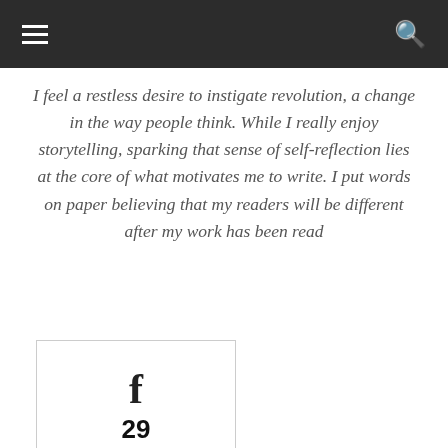Navigation bar with hamburger menu and search icon
I feel a restless desire to instigate revolution, a change in the way people think. While I really enjoy storytelling, sparking that sense of self-reflection lies at the core of what motivates me to write. I put words on paper believing that my readers will be different after my work has been read
[Figure (other): Facebook widget box showing 29 Fans]
Don't miss
The Edge of Justice (Book I)